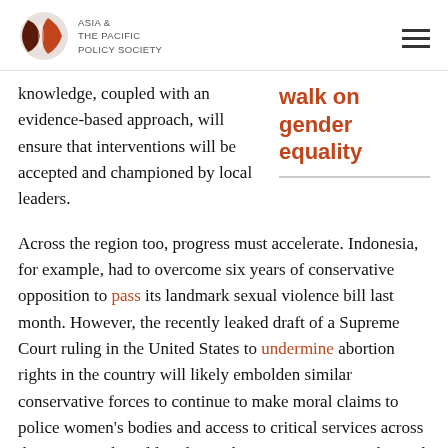ASIA & THE PACIFIC POLICY SOCIETY
knowledge, coupled with an evidence-based approach, will ensure that interventions will be accepted and championed by local leaders.
walk on gender equality
Across the region too, progress must accelerate. Indonesia, for example, had to overcome six years of conservative opposition to pass its landmark sexual violence bill last month. However, the recently leaked draft of a Supreme Court ruling in the United States to undermine abortion rights in the country will likely embolden similar conservative forces to continue to make moral claims to police women's bodies and access to critical services across the region and world. Policymakers must anticipate this and work to protect